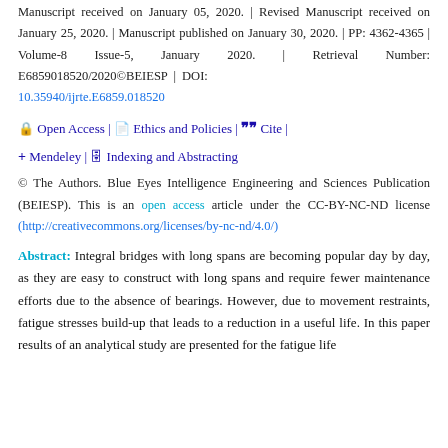Manuscript received on January 05, 2020. | Revised Manuscript received on January 25, 2020. | Manuscript published on January 30, 2020. | PP: 4362-4365 | Volume-8 Issue-5, January 2020. | Retrieval Number: E6859018520/2020©BEIESP | DOI: 10.35940/ijrte.E6859.018520
🔒 Open Access | 📄 Ethics and Policies | ❝❞ Cite | ➕ Mendeley | 🗄 Indexing and Abstracting
© The Authors. Blue Eyes Intelligence Engineering and Sciences Publication (BEIESP). This is an open access article under the CC-BY-NC-ND license (http://creativecommons.org/licenses/by-nc-nd/4.0/)
Abstract: Integral bridges with long spans are becoming popular day by day, as they are easy to construct with long spans and require fewer maintenance efforts due to the absence of bearings. However, due to movement restraints, fatigue stresses build-up that leads to a reduction in a useful life. In this paper results of an analytical study are presented for the fatigue life